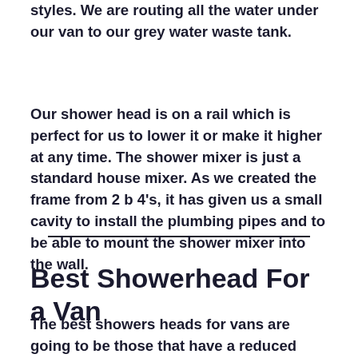styles. We are routing all the water under our van to our grey water waste tank.
Our shower head is on a rail which is perfect for us to lower it or make it higher at any time. The shower mixer is just a standard house mixer. As we created the frame from 2 b 4’s, it has given us a small cavity to install the plumbing pipes and to be able to mount the shower mixer into the wall.
Best Showerhead For a Van
The best showers heads for vans are going to be those that have a reduced flow of water. You